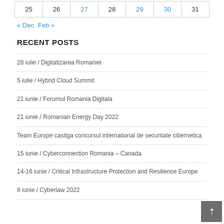| 25 | 26 | 27 | 28 | 29 | 30 | 31 |
| --- | --- | --- | --- | --- | --- | --- |
| 25 | 26 | 27 | 28 | 29 | 30 | 31 |
« Dec   Feb »
RECENT POSTS
28 iulie / Digitatizarea Romaniei
5 iulie / Hybrid Cloud Summit
21 iunie / Forumul Romania Digitala
21 iunie / Romanian Energy Day 2022
Team Europe castiga concursul international de securitate cibernetica
15 iunie / Cyberconnection Romania – Canada
14-16 iunie / Critical Infrastructure Protection and Resilience Europe
8 iunie / Cyberlaw 2022